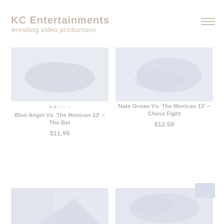KC Entertainments
wrestling video productions
[Figure (photo): Wrestling photo - two wrestlers on mat, washed out/faded]
[Figure (photo): Wrestling photo - close up of wrestlers, washed out/faded]
★★☆☆☆
Blue Angel Vs. The Mexican 13' – The Bet
$11.99
Nate Ocean Vs. The Mexican 15' – Chess Fight
$12.99
[Figure (photo): Partial wrestling photo bottom left, washed out]
[Figure (photo): Partial wrestling photo bottom right, washed out]